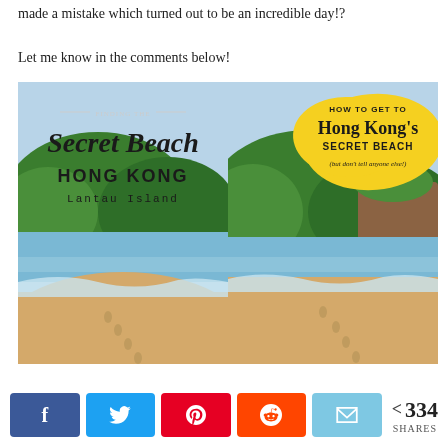made a mistake which turned out to be an incredible day!?
Let me know in the comments below!
[Figure (illustration): Two side-by-side blog post Pinterest pin images about 'Finding the Secret Beach Hong Kong, Lantau Island' (left) and 'How to Get to Hong Kong's Secret Beach (but don't tell anyone else!)' (right). Both show a tropical sandy beach with footprints, ocean waves, and a green forested hill in the background.]
< 334 SHARES with social sharing buttons: Facebook, Twitter, Pinterest, Reddit, Email